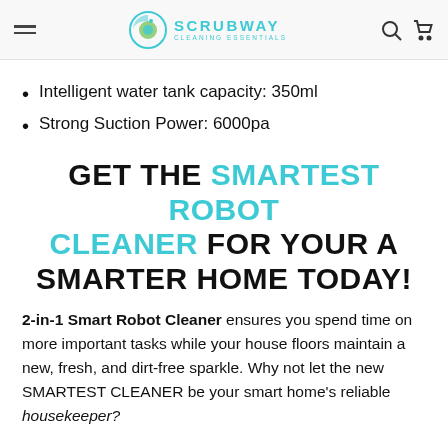SCRUBWAY CLEANING ESSENTIALS
Intelligent water tank capacity: 350ml
Strong Suction Power: 6000pa
GET THE SMARTEST ROBOT CLEANER FOR YOUR A SMARTER HOME TODAY!
2-in-1 Smart Robot Cleaner ensures you spend time on more important tasks while your house floors maintain a  new, fresh, and dirt-free sparkle. Why not let the new SMARTEST CLEANER be your smart home's reliable housekeeper?